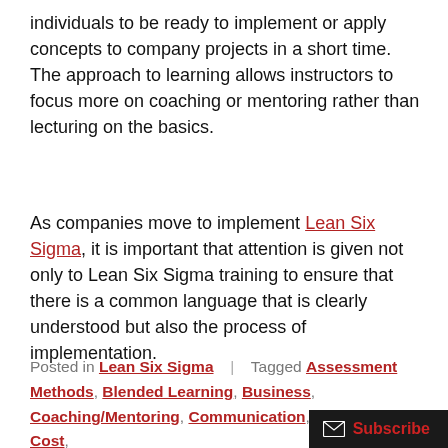individuals to be ready to implement or apply concepts to company projects in a short time.  The approach to learning allows instructors to focus more on coaching or mentoring rather than lecturing on the basics.
As companies move to implement Lean Six Sigma, it is important that attention is given not only to Lean Six Sigma training to ensure that there is a common language that is clearly understood but also the process of implementation.
Posted in  Lean Six Sigma  |  Tagged  Assessment Methods,  Blended Learning,  Business,  Coaching/Mentoring,  Communication,  Companies,  Cost,  e-learning,  Employees,  Group Sites,  Innovation,  Instruction,  Lean Six Sigma,  Students,  Training,  Waste  |  Leave a comment